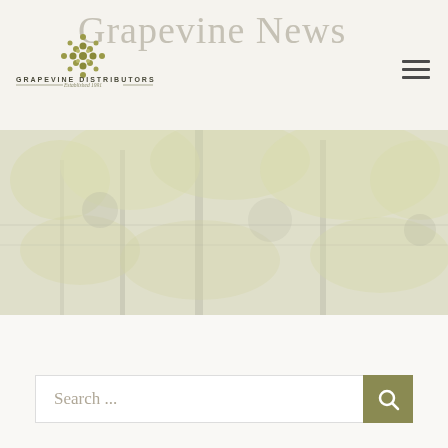Grapevine News
[Figure (logo): Grapevine Distributors logo — stylized grape cluster / star shape in olive green dots, with text 'GRAPEVINE DISTRIBUTORS Established 1991']
[Figure (photo): Hero banner image of a vineyard — faded/washed out photo of grape vines with foliage in muted yellow-green and grey tones]
[Figure (illustration): Faint watermark illustration of grapes in the white content area below the hero image]
Search ...